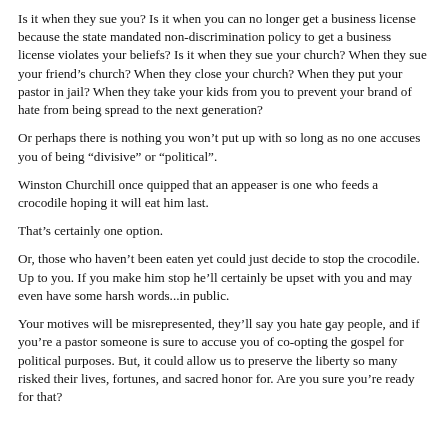Is it when they sue you? Is it when you can no longer get a business license because the state mandated non-discrimination policy to get a business license violates your beliefs? Is it when they sue your church? When they sue your friend's church? When they close your church? When they put your pastor in jail? When they take your kids from you to prevent your brand of hate from being spread to the next generation?
Or perhaps there is nothing you won't put up with so long as no one accuses you of being “divisive” or “political”.
Winston Churchill once quipped that an appeaser is one who feeds a crocodile hoping it will eat him last.
That’s certainly one option.
Or, those who haven’t been eaten yet could just decide to stop the crocodile. Up to you. If you make him stop he’ll certainly be upset with you and may even have some harsh words...in public.
Your motives will be misrepresented, they’ll say you hate gay people, and if you’re a pastor someone is sure to accuse you of co-opting the gospel for political purposes. But, it could allow us to preserve the liberty so many risked their lives, fortunes, and sacred honor for. Are you sure you’re ready for that?